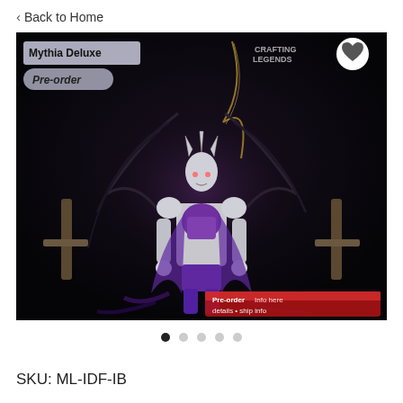< Back to Home
[Figure (photo): A dark-themed action figure of a purple and white robotic/fantasy character (Mythia Deluxe Pre-order) posed on a throne-like structure with mechanical arms and dark background. Labels in top-left say 'Mythia Deluxe' and 'Pre-order'. A heart/wishlist icon appears in the top-right corner. A product info banner appears in the bottom-right.]
SKU: ML-IDF-IB